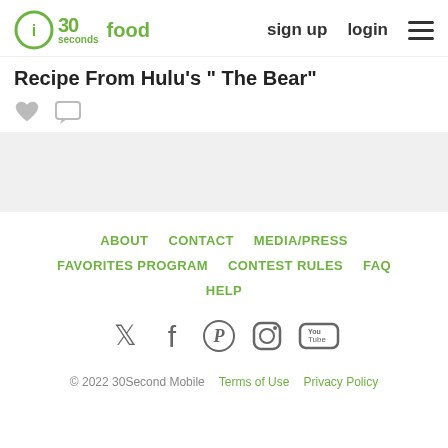30seconds food | sign up | login
Recipe From Hulu's "The Bear"
[Figure (other): Heart (like) icon and speech bubble (comment) icon in gray]
[Figure (other): Gray advertisement/content placeholder band]
ABOUT  CONTACT  MEDIA/PRESS  FAVORITES PROGRAM  CONTEST RULES  FAQ  HELP
[Figure (other): Social media icons: Twitter, Facebook, Pinterest, Instagram, YouTube]
© 2022 30Second Mobile   Terms of Use   Privacy Policy